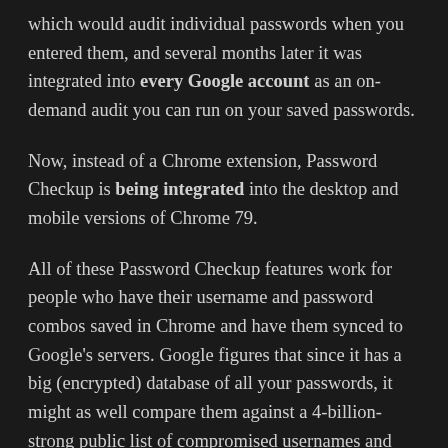which would audit individual passwords when you entered them, and several months later it was integrated into every Google account as an on-demand audit you can run on your saved passwords.
Now, instead of a Chrome extension, Password Checkup is being integrated into the desktop and mobile versions of Chrome 79.
All of these Password Checkup features work for people who have their username and password combos saved in Chrome and have them synced to Google's servers. Google figures that since it has a big (encrypted) database of all your passwords, it might as well compare them against a 4-billion-strong public list of compromised usernames and passwords that have been exposed in innumerable security breaches over the years. Any time Google hits a match, it notifies you that a specific set of credentials is public and unsafe and that you